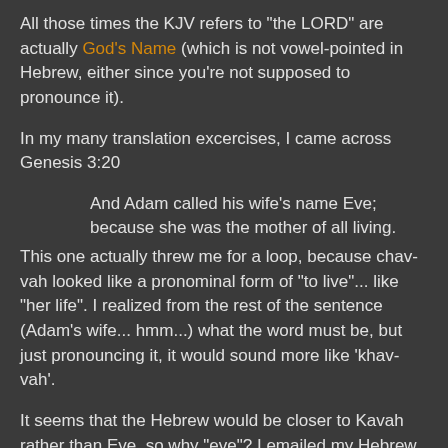All those times the KJV refers to "the LORD" are actually God's Name (which is not vowel-pointed in Hebrew, either since you're not supposed to pronounce it).
In my many translation excercises, I came across Genesis 3:20
And Adam called his wife's name Eve; because she was the mother of all living.
This one actually threw me for a loop, because chav-vah looked like a pronominal form of "to live"... like "her life". I realized from the rest of the sentence (Adam's wife... hmm...) what the word must be, but just pronouncing it, it would sound more like 'khav-vah'.
It seems that the Hebrew would be closer to Kavah rather than Eve, so why "eve"? I emailed my Hebrew professor about it, but did a little digging myself.
Eve is only mentioned by name four times in the Bible (five times if you're Catholic). Since the Hebrew is nothing like